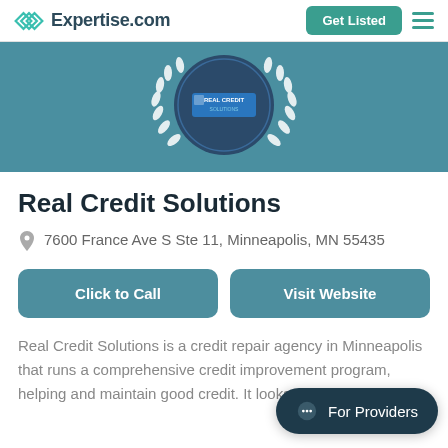Expertise.com | Get Listed
[Figure (logo): Real Credit Solutions award badge with laurel wreath on teal background]
Real Credit Solutions
7600 France Ave S Ste 11, Minneapolis, MN 55435
Click to Call
Visit Website
Real Credit Solutions is a credit repair agency in Minneapolis that runs a comprehensive credit improvement program, helping and maintain good credit. It looks through credit
For Providers